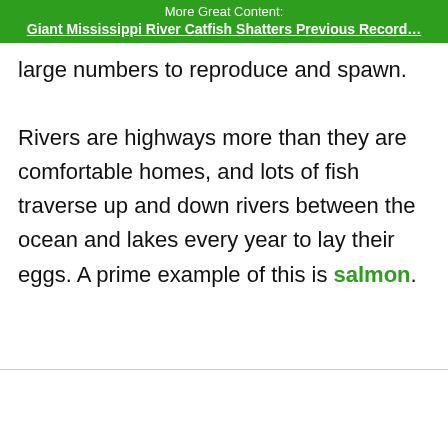More Great Content:
Giant Mississippi River Catfish Shatters Previous Record…
large numbers to reproduce and spawn.

Rivers are highways more than they are comfortable homes, and lots of fish traverse up and down rivers between the ocean and lakes every year to lay their eggs. A prime example of this is salmon.